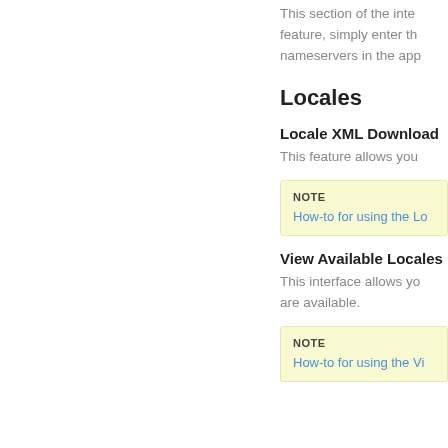This section of the inte feature, simply enter th nameservers in the app
Locales
Locale XML Download
This feature allows you
NOTE
How-to for using the Lo
View Available Locales
This interface allows yo are available.
NOTE
How-to for using the Vi